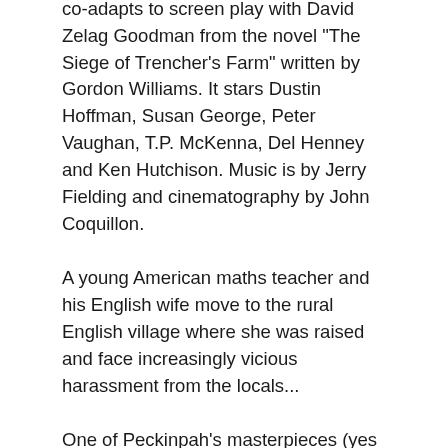co-adapts to screen play with David Zelag Goodman from the novel "The Siege of Trencher's Farm" written by Gordon Williams. It stars Dustin Hoffman, Susan George, Peter Vaughan, T.P. McKenna, Del Henney and Ken Hutchison. Music is by Jerry Fielding and cinematography by John Coquillon.
A young American maths teacher and his English wife move to the rural English village where she was raised and face increasingly vicious harassment from the locals...
One of Peckinpah's masterpieces (yes you can have more than one), Straw Dogs is an uncompromising dissection of violence, machismo and boundary pushing of the human condition. Controversy around the film reigned supreme upon release (and long into the dead part of the video nasty era 1980s), and in fact still today it is still pored over as an abject lesson in audience